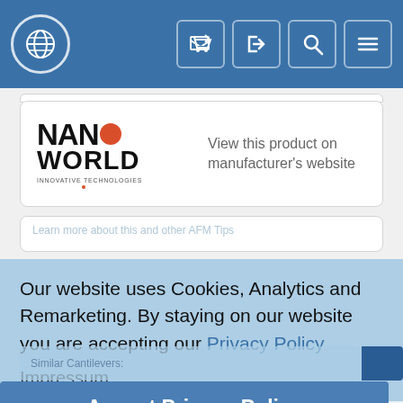NanoWorld website navigation bar with globe icon, cart, login, search, and menu buttons
[Figure (logo): NanoWorld Innovative Technologies logo]
View this product on manufacturer's website
Learn more about this and other AFM Tips
Our website uses Cookies, Analytics and Remarketing. By staying on our website you are accepting our Privacy Policy
Impressum
Similar Cantilevers:
Rectangular / D... R... AFM C...
Accept Privacy Policy
Trapezoidal Cross Section AFM Cantilevers (tip on narrow flank)